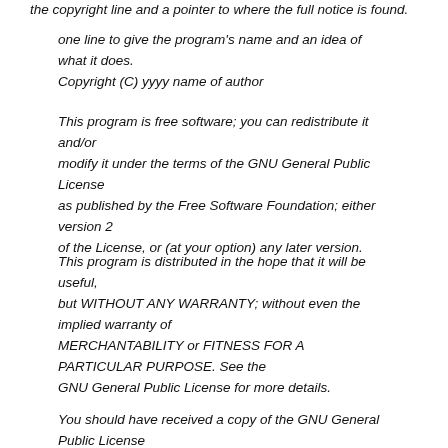the copyright line and a pointer to where the full notice is found.
one line to give the program's name and an idea of what it does.
Copyright (C) yyyy name of author
This program is free software; you can redistribute it and/or
modify it under the terms of the GNU General Public License
as published by the Free Software Foundation; either version 2
of the License, or (at your option) any later version.
This program is distributed in the hope that it will be useful,
but WITHOUT ANY WARRANTY; without even the implied warranty of
MERCHANTABILITY or FITNESS FOR A PARTICULAR PURPOSE. See the
GNU General Public License for more details.
You should have received a copy of the GNU General Public License